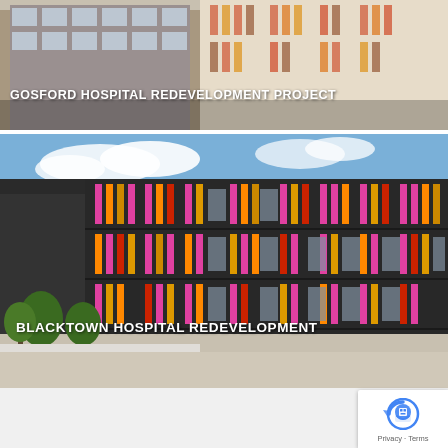[Figure (photo): Exterior view of Gosford Hospital Redevelopment Project building with colorful facade panels in orange, red, and beige tones]
GOSFORD HOSPITAL REDEVELOPMENT PROJECT
[Figure (photo): Exterior render of Blacktown Hospital Redevelopment building with dark facade and colourful vertical panels in pink, orange, yellow and red, with trees in foreground]
BLACKTOWN HOSPITAL REDEVELOPMENT
[Figure (other): Google reCAPTCHA badge with robot icon, Privacy and Terms links]